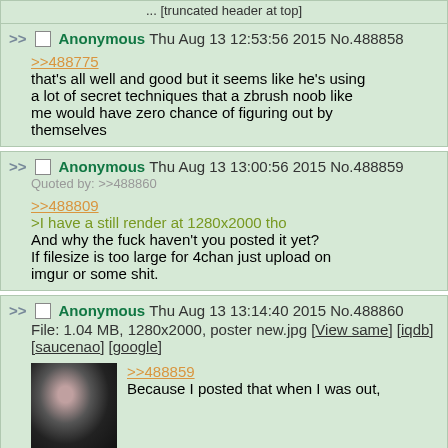Anonymous Thu Aug 13 12:53:56 2015 No.488858
>>488775
that's all well and good but it seems like he's using a lot of secret techniques that a zbrush noob like me would have zero chance of figuring out by themselves
Anonymous Thu Aug 13 13:00:56 2015 No.488859
Quoted by: >>488860
>>488809
>I have a still render at 1280x2000 tho
And why the fuck haven't you posted it yet?
If filesize is too large for 4chan just upload on imgur or some shit.
Anonymous Thu Aug 13 13:14:40 2015 No.488860
File: 1.04 MB, 1280x2000, poster new.jpg [View same] [iqdb] [saucenao] [google]
>>488859
Because I posted that when I was out,